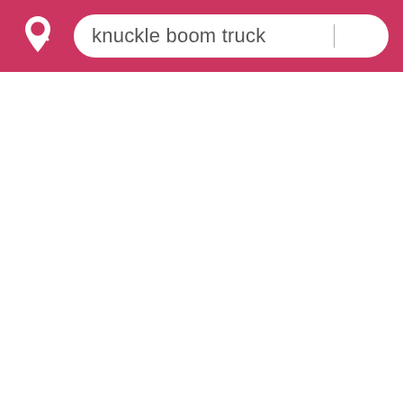[Figure (screenshot): Mobile app header bar with crimson/pink background containing a white map pin with magnifying glass logo icon on the left, and a white rounded search box containing the text 'knuckle boom truck' with a cursor line on the right.]
knuckle boom truck